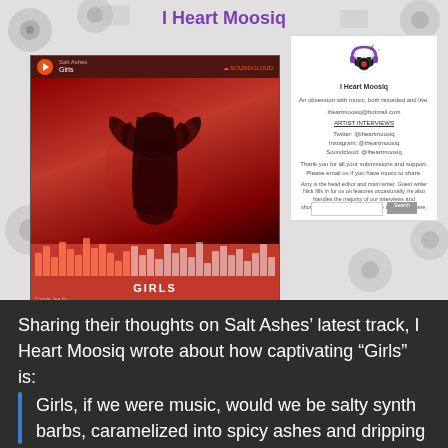[Figure (screenshot): Screenshot of I Heart Moosiq blog page showing a SoundCloud embedded player for Salt Ashes - Girls with a red album art/silhouette, waveform, and a sidebar with the blog's logo, description, social links, and bio]
Sharing their thoughts on Salt Ashes’ latest track, I Heart Moosiq wrote about how captivating “Girls” is:
Girls, if we were music, would we be salty synth barbs, caramelized into spicy ashes and dripping with curvy, fiery